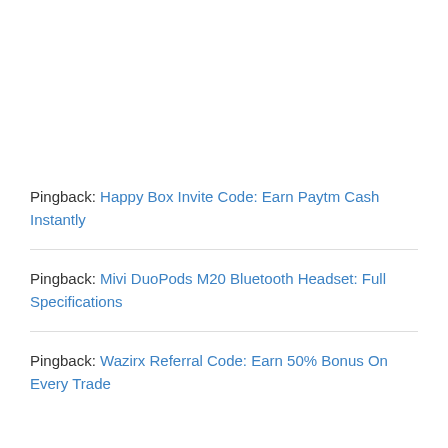Pingback: Happy Box Invite Code: Earn Paytm Cash Instantly
Pingback: Mivi DuoPods M20 Bluetooth Headset: Full Specifications
Pingback: Wazirx Referral Code: Earn 50% Bonus On Every Trade